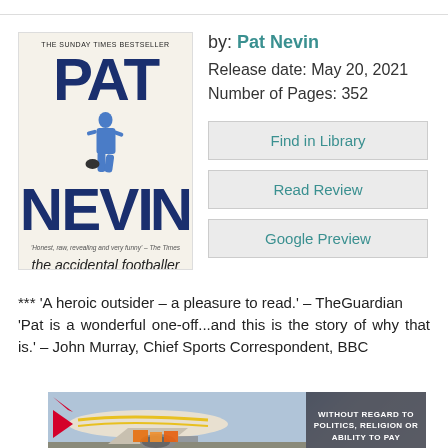[Figure (illustration): Book cover for 'The Accidental Footballer: A Memoir' by Pat Nevin. White/cream background with large bold navy blue text reading PAT NEVIN, The Sunday Times Bestseller badge at top, footballer silhouette, subtitle 'the accidental footballer a memoir'.]
by: Pat Nevin
Release date: May 20, 2021
Number of Pages: 352
Find in Library
Read Review
Google Preview
*** 'A heroic outsider – a pleasure to read.' – TheGuardian 'Pat is a wonderful one-off...and this is the story of why that is.' – John Murray, Chief Sports Correspondent, BBC
[Figure (photo): Advertisement banner showing an airplane being loaded with cargo on a tarmac, with text overlay 'WITHOUT REGARD TO POLITICS, RELIGION OR ABILITY TO PAY']